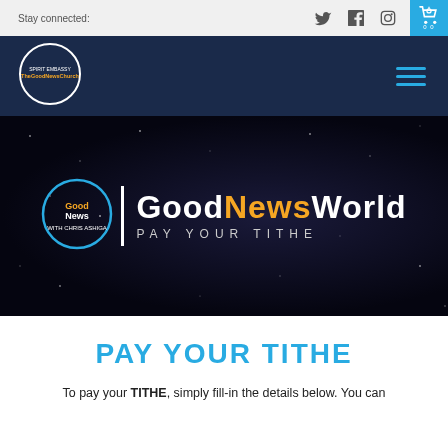Stay connected:
[Figure (logo): Spirit Embassy / The Good News Church circular logo in white on dark navy background]
[Figure (illustration): Hero banner with starfield/space background. GoodNews circular logo and text 'GoodNewsWorld PAY YOUR TITHE' in white and orange lettering]
PAY YOUR TITHE
To pay your TITHE, simply fill-in the details below. You can